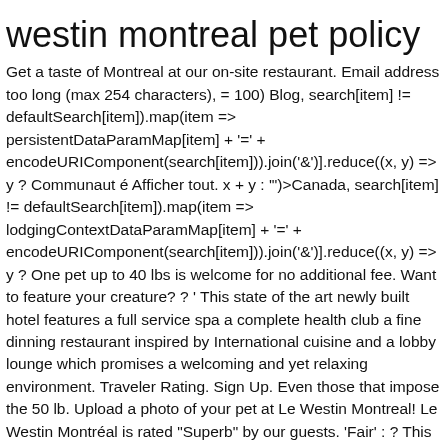westin montreal pet policy
Get a taste of Montreal at our on-site restaurant. Email address too long (max 254 characters), = 100) Blog, search[item] != defaultSearch[item]).map(item => persistentDataParamMap[item] + '=' + encodeURIComponent(search[item])).join('&')].reduce((x, y) => y ? Communaut é Afficher tout. x + y : '")>Canada, search[item] != defaultSearch[item]).map(item => lodgingContextDataParamMap[item] + '=' + encodeURIComponent(search[item])).join('&')].reduce((x, y) => y ? One pet up to 40 lbs is welcome for no additional fee. Want to feature your creature? ? ' This state of the art newly built hotel features a full service spa a complete health club a fine dinning restaurant inspired by International cuisine and a lobby lounge which promises a welcoming and yet relaxing environment. Traveler Rating. Sign Up. Even those that impose the 50 lb. Upload a photo of your pet at Le Westin Montreal! Le Westin Montréal is rated "Superb" by our guests. 'Fair' : ? This hotel does not provide shuttle service. Safe Stay: Le Westin Montreal has enhanced cleaning and safety measures in place, and follows the Commitment to Clean (Marriott) cleanliness and sanitization policy. Le Westin Montreal is pet friendly! Les chambres sont pourvues d'une télévision à écran plat de 81 cm, d'un système stéréo, de lits